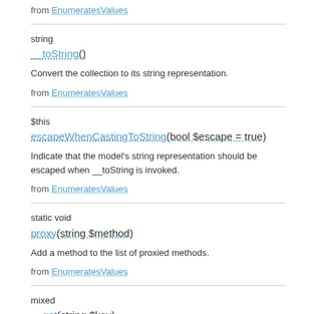from  EnumeratesValues
string
__toString()
Convert the collection to its string representation.
from  EnumeratesValues
$this
escapeWhenCastingToString(bool $escape = true)
Indicate that the model's string representation should be escaped when __toString is invoked.
from  EnumeratesValues
static void
proxy(string $method)
Add a method to the list of proxied methods.
from  EnumeratesValues
mixed
__get(string $key)